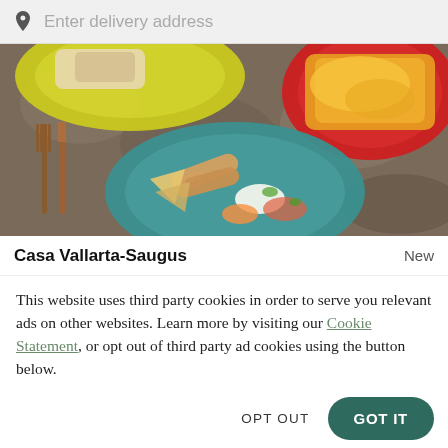Enter delivery address
[Figure (photo): Overhead shot of Mexican food dishes on a granite surface: a yellow plate with items at top left, a red oval dish with cheesy food at top right, a teal plate with taquitos, chips, and garnishes in the center, and cutlery (fork and knife) on the left.]
Casa Vallarta-Saugus   New
This website uses third party cookies in order to serve you relevant ads on other websites. Learn more by visiting our Cookie Statement, or opt out of third party ad cookies using the button below.
OPT OUT
GOT IT